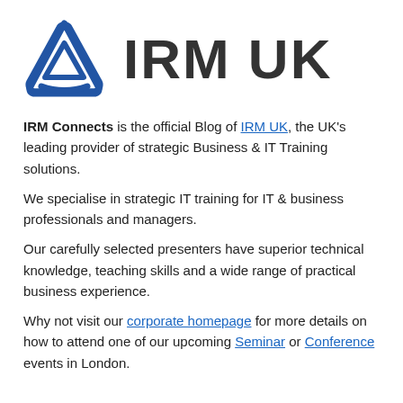[Figure (logo): IRM UK logo with blue triangular/shield icon and bold dark 'IRM UK' text]
IRM Connects is the official Blog of IRM UK, the UK's leading provider of strategic Business & IT Training solutions.
We specialise in strategic IT training for IT & business professionals and managers.
Our carefully selected presenters have superior technical knowledge, teaching skills and a wide range of practical business experience.
Why not visit our corporate homepage for more details on how to attend one of our upcoming Seminar or Conference events in London.